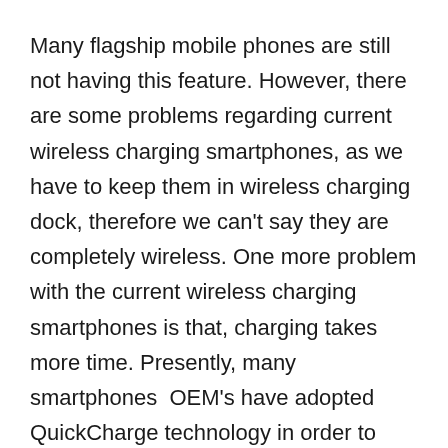Many flagship mobile phones are still not having this feature. However, there are some problems regarding current wireless charging smartphones, as we have to keep them in wireless charging dock, therefore we can't say they are completely wireless. One more problem with the current wireless charging smartphones is that, charging takes more time. Presently, many smartphones  OEM's have adopted QuickCharge technology in order to speed up the charging processes.
As said above about the current wireless